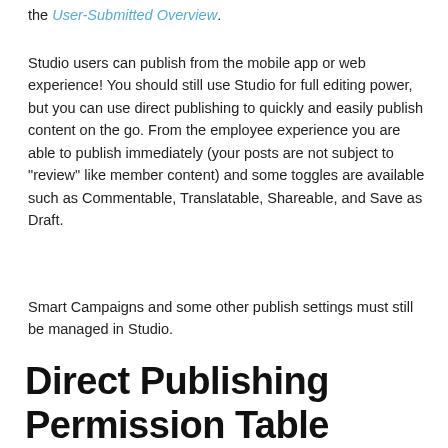the User-Submitted Overview.
Studio users can publish from the mobile app or web experience! You should still use Studio for full editing power, but you can use direct publishing to quickly and easily publish content on the go. From the employee experience you are able to publish immediately (your posts are not subject to "review" like member content) and some toggles are available such as Commentable, Translatable, Shareable, and Save as Draft.
Smart Campaigns and some other publish settings must still be managed in Studio.
Direct Publishing Permission Table